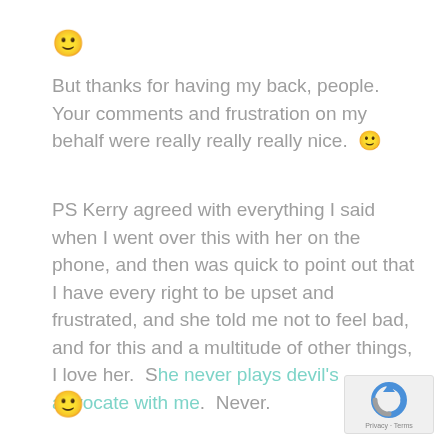[Figure (illustration): Smiley face emoji at top left]
But thanks for having my back, people. Your comments and frustration on my behalf were really really really nice. 🙂
PS Kerry agreed with everything I said when I went over this with her on the phone, and then was quick to point out that I have every right to be upset and frustrated, and she told me not to feel bad, and for this and a multitude of other things, I love her.  She never plays devil's advocate with me.  Never.
[Figure (illustration): Smiley face emoji at bottom left]
[Figure (logo): reCAPTCHA logo with Privacy and Terms text]